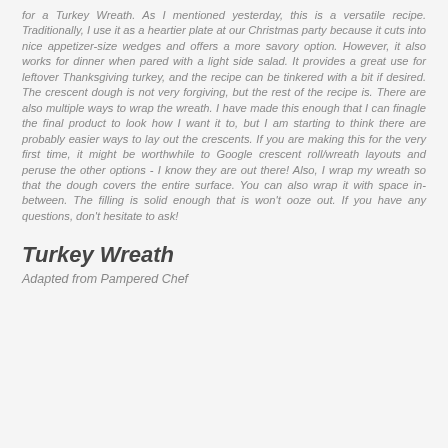for a Turkey Wreath. As I mentioned yesterday, this is a versatile recipe. Traditionally, I use it as a heartier plate at our Christmas party because it cuts into nice appetizer-size wedges and offers a more savory option. However, it also works for dinner when pared with a light side salad. It provides a great use for leftover Thanksgiving turkey, and the recipe can be tinkered with a bit if desired. The crescent dough is not very forgiving, but the rest of the recipe is. There are also multiple ways to wrap the wreath. I have made this enough that I can finagle the final product to look how I want it to, but I am starting to think there are probably easier ways to lay out the crescents. If you are making this for the very first time, it might be worthwhile to Google crescent roll/wreath layouts and peruse the other options - I know they are out there! Also, I wrap my wreath so that the dough covers the entire surface. You can also wrap it with space in-between. The filling is solid enough that is won't ooze out. If you have any questions, don't hesitate to ask!
Turkey Wreath
Adapted from Pampered Chef